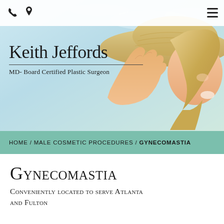[Figure (screenshot): Website header with phone and location icons on the left and hamburger menu on the right, over a hero image of a smiling blonde woman wearing a large sun hat against a light blue sky background]
Keith Jeffords
MD- Board Certified Plastic Surgeon
HOME / MALE COSMETIC PROCEDURES / GYNECOMASTIA
Gynecomastia
Conveniently located to serve Atlanta and Fulton